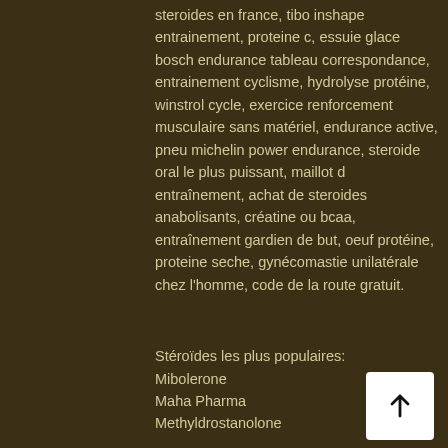steroides en france, tibo inshape entrainement, proteine c, essuie glace bosch endurance tableau correspondance, entrainement cyclisme, hydrolyse protéine, winstrol cycle, exercice renforcement musculaire sans matériel, endurance active, pneu michelin power endurance, steroide oral le plus puissant, maillot d entraînement, achat de steroides anabolisants, créatine ou bcaa, entraînement gardien de but, oeuf protéine, proteine seche, gynécomastie unilatérale chez l'homme, code de la route gratuit.
Stéroïdes les plus populaires:
Mibolerone
Maha Pharma
Methyldrostanolone
Anavar 10 mg (50 tabs)
Testosterone Enanthate 100mg
Pharmacy Gears
Tren Ace 50mg – Tren Enan 50mg – Tren